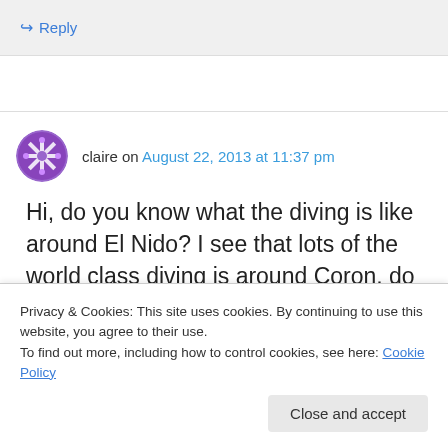↪ Reply
claire on August 22, 2013 at 11:37 pm
Hi, do you know what the diving is like around El Nido? I see that lots of the world class diving is around Coron, do you think it would be worth
Privacy & Cookies: This site uses cookies. By continuing to use this website, you agree to their use.
To find out more, including how to control cookies, see here: Cookie Policy
Close and accept